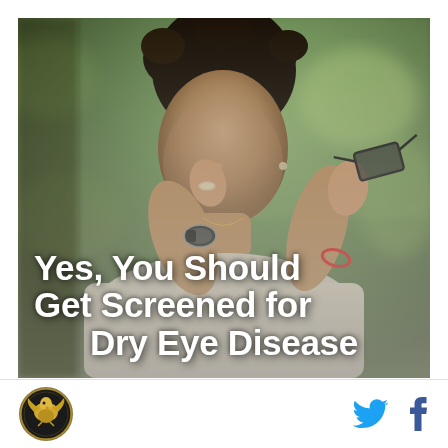[Figure (photo): A woman with short curly dark hair pinching her nose bridge with her left hand (wearing a ring and watch) and holding glasses in her right hand, appearing to have eye discomfort. Background is blurred green/bokeh. White bold text overlaid reads: 'Yes, You Should Get Screened for Dry Eye Disease'.]
Yes, You Should Get Screened for Dry Eye Disease
[Figure (logo): Circular logo with dark background showing an eagle/bird emblem, bordered in gold/yellow, representing a medical or government organization.]